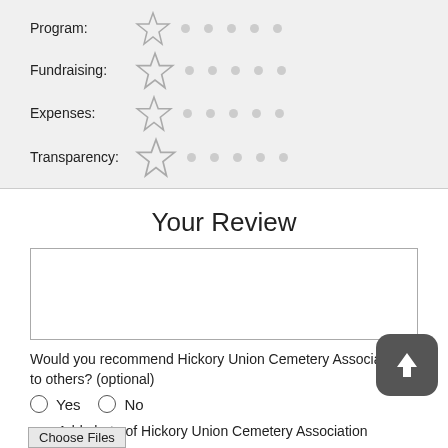Program:
Fundraising:
Expenses:
Transparency:
Your Review
Would you recommend Hickory Union Cemetery Association to others? (optional)
Yes
No
Add photo of Hickory Union Cemetery Association (optional)